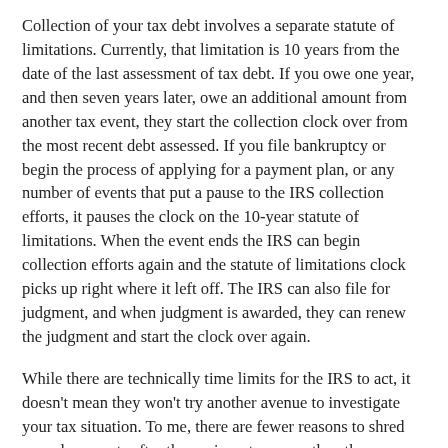Collection of your tax debt involves a separate statute of limitations. Currently, that limitation is 10 years from the date of the last assessment of tax debt. If you owe one year, and then seven years later, owe an additional amount from another tax event, they start the collection clock over from the most recent debt assessed. If you file bankruptcy or begin the process of applying for a payment plan, or any number of events that put a pause to the IRS collection efforts, it pauses the clock on the 10-year statute of limitations. When the event ends the IRS can begin collection efforts again and the statute of limitations clock picks up right where it left off. The IRS can also file for judgment, and when judgment is awarded, they can renew the judgment and start the clock over again.
While there are technically time limits for the IRS to act, it doesn't mean they won't try another avenue to investigate your tax situation. To me, there are fewer reasons to shred your documents after three, six or ten years than there are potential reasons to keep them as long as possible. Thankfully, with today's technology, document retention is much easier, faster and less expensive than ever before. These services offer